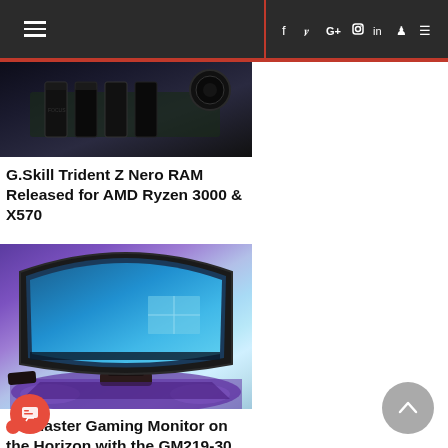Navigation bar with hamburger menu and social icons: f (Facebook), Twitter, G+, Instagram, LinkedIn, Steam, RSS
[Figure (photo): Dark close-up hardware photo of G.Skill Trident Z Nero RAM module on a motherboard with dark purple/blue lighting]
G.Skill Trident Z Nero RAM Released for AMD Ryzen 3000 & X570
[Figure (photo): Photo of a curved ultrawide gaming monitor displaying Windows 10 desktop with a blue/teal gradient wallpaper, placed on a purple-lit desk]
r Master Gaming Monitor on the Horizon with the GM219-30 and GM219-